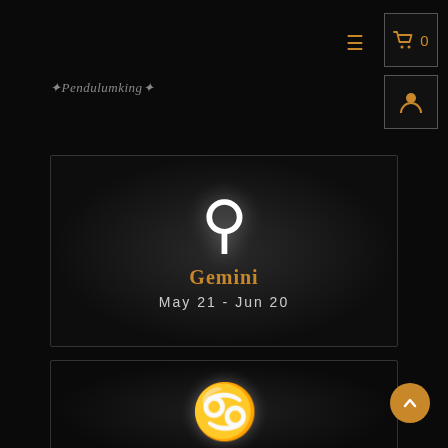≡  🛒 0  👤
✦Pendulumking✦
[Figure (illustration): Gemini zodiac sign card with the Gemini glyph symbol (♊) in white, name 'Gemini' in gold, and dates 'May 21 - Jun 20' in light gray, on a dark background with subtle radial glow]
[Figure (illustration): Cancer zodiac sign card with the Cancer glyph symbol (♋) in white on a dark background with subtle radial glow, partially visible at bottom of page]